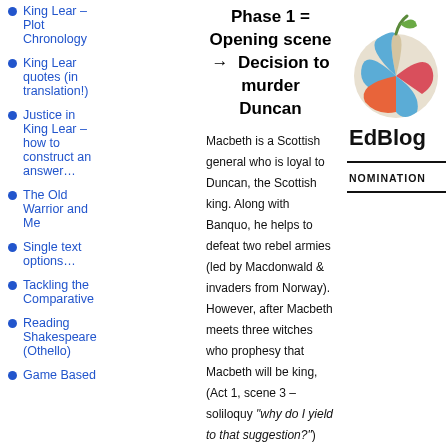King Lear – Plot Chronology
King Lear quotes (in translation!)
Justice in King Lear – how to construct an answer…
The Old Warrior and Me
Single text options…
Tackling the Comparative
Reading Shakespeare (Othello)
Game Based
Phase 1 = Opening scene → Decision to murder Duncan
Macbeth is a Scottish general who is loyal to Duncan, the Scottish king. Along with Banquo, he helps to defeat two rebel armies (led by Macdonwald & invaders from Norway). However, after Macbeth meets three witches who prophesy that Macbeth will be king, (Act 1, scene 3 – soliloquy "why do I yield to that suggestion?") the general is no longer satisfied to remain loyal to his king. Although Duncan rewards Macbeth for his bravery on the battlefield with a new title and a royal visit to Inverness, Macbeth and his wife
[Figure (logo): EdBlog logo: colorful apple icon above the text EdBlog]
NOMINATION